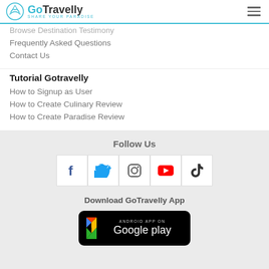GoTravelly - Share Your Paradise
Frequently Asked Questions
Contact Us
Tutorial Gotravelly
How to Signup as User
How to Create Culinary Review
How to Create Paradise Review
Follow Us
[Figure (infographic): Social media icons: Facebook, Twitter, Instagram, YouTube, TikTok]
Download GoTravelly App
[Figure (infographic): Google Play store badge: Android App on Google Play]